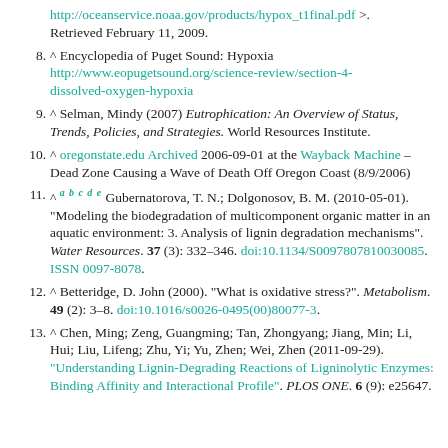(continuation) http://oceanservice.noaa.gov/products/hypox_t1final.pdf >. Retrieved February 11, 2009.
8. ^ Encyclopedia of Puget Sound: Hypoxia http://www.eopugetsound.org/science-review/section-4-dissolved-oxygen-hypoxia
9. ^ Selman, Mindy (2007) Eutrophication: An Overview of Status, Trends, Policies, and Strategies. World Resources Institute.
10. ^ oregonstate.edu Archived 2006-09-01 at the Wayback Machine – Dead Zone Causing a Wave of Death Off Oregon Coast (8/9/2006)
11. ^ a b c d e Gubernatorova, T. N.; Dolgonosov, B. M. (2010-05-01). "Modeling the biodegradation of multicomponent organic matter in an aquatic environment: 3. Analysis of lignin degradation mechanisms". Water Resources. 37 (3): 332–346. doi:10.1134/S0097807810030085. ISSN 0097-8078.
12. ^ Betteridge, D. John (2000). "What is oxidative stress?". Metabolism. 49 (2): 3–8. doi:10.1016/s0026-0495(00)80077-3.
13. ^ Chen, Ming; Zeng, Guangming; Tan, Zhongyang; Jiang, Min; Li, Hui; Liu, Lifeng; Zhu, Yi; Yu, Zhen; Wei, Zhen (2011-09-29). "Understanding Lignin-Degrading Reactions of Ligninolytic Enzymes: Binding Affinity and Interactional Profile". PLOS ONE. 6 (9): e25647.